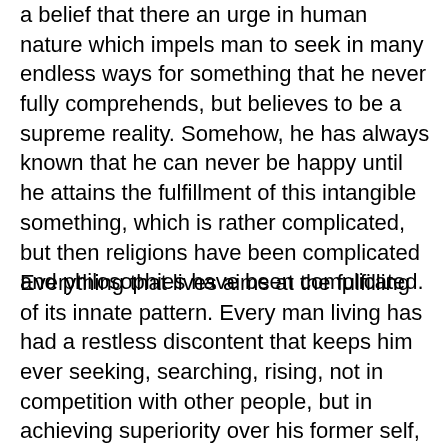a belief that there an urge in human nature which impels man to seek in many endless ways for something that he never fully comprehends, but believes to be a supreme reality. Somehow, he has always known that he can never be happy until he attains the fulfillment of this intangible something, which is rather complicated, but then religions have been complicated and philosophies have been complicated.
Everything that lives aims at the fulfilling of its innate pattern. Every man living has had a restless discontent that keeps him ever seeking, searching, rising, not in competition with other people, but in achieving superiority over his former self, as the ancient Orientals might have put it. This is an insight that was held by many of the early antecedents of modern psychology. They were later drowned out by